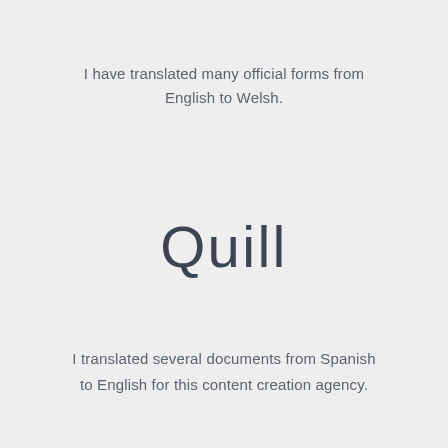I have translated many official forms from English to Welsh.
Quill
I translated several documents from Spanish to English for this content creation agency.